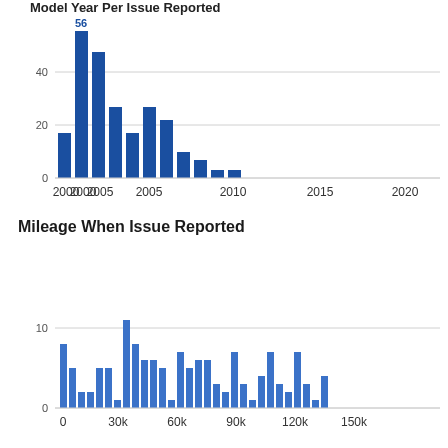[Figure (bar-chart): Model Year Per Issue Reported]
Mileage When Issue Reported
[Figure (bar-chart): Mileage When Issue Reported]